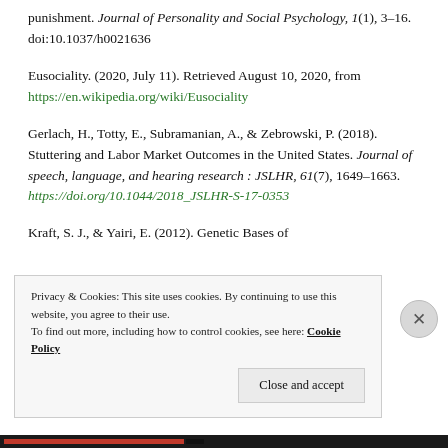punishment. Journal of Personality and Social Psychology, 1(1), 3–16. doi:10.1037/h0021636
Eusociality. (2020, July 11). Retrieved August 10, 2020, from https://en.wikipedia.org/wiki/Eusociality
Gerlach, H., Totty, E., Subramanian, A., & Zebrowski, P. (2018). Stuttering and Labor Market Outcomes in the United States. Journal of speech, language, and hearing research : JSLHR, 61(7), 1649–1663. https://doi.org/10.1044/2018_JSLHR-S-17-0353
Kraft, S. J., & Yairi, E. (2012). Genetic Bases of
Privacy & Cookies: This site uses cookies. By continuing to use this website, you agree to their use. To find out more, including how to control cookies, see here: Cookie Policy